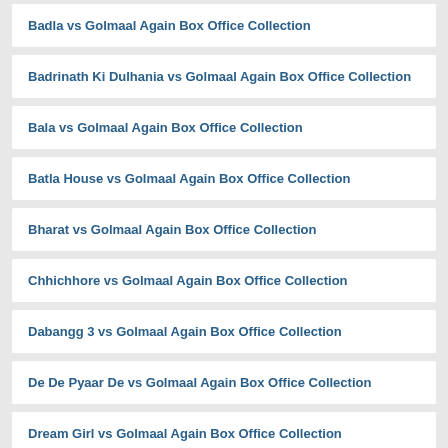Badla vs Golmaal Again Box Office Collection
Badrinath Ki Dulhania vs Golmaal Again Box Office Collection
Bala vs Golmaal Again Box Office Collection
Batla House vs Golmaal Again Box Office Collection
Bharat vs Golmaal Again Box Office Collection
Chhichhore vs Golmaal Again Box Office Collection
Dabangg 3 vs Golmaal Again Box Office Collection
De De Pyaar De vs Golmaal Again Box Office Collection
Dream Girl vs Golmaal Again Box Office Collection